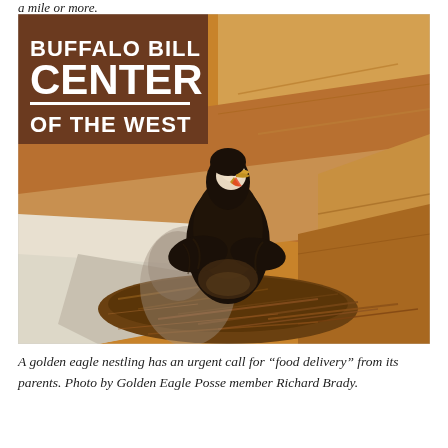a mile or more.
[Figure (photo): A golden eagle nestling standing in a nest on a rocky cliff ledge, beak open, with warm golden sandstone rock background. Overlaid in the top-left corner is the Buffalo Bill Center of the West logo (white text on brown background with a white horizontal rule).]
A golden eagle nestling has an urgent call for “food delivery” from its parents. Photo by Golden Eagle Posse member Richard Brady.